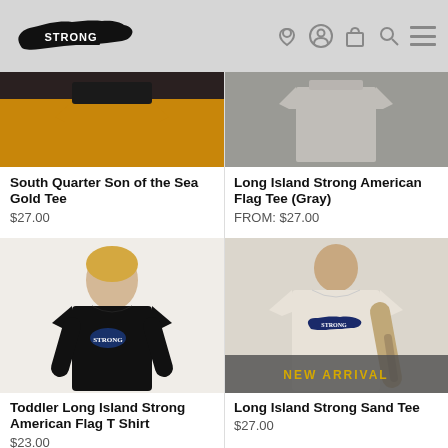[Figure (logo): Strong Long Island logo with map silhouette]
[Figure (photo): South Quarter Son of the Sea Gold Tee product photo showing gold/yellow shirt]
South Quarter Son of the Sea Gold Tee
$27.00
[Figure (photo): Long Island Strong American Flag Tee (Gray) product photo]
Long Island Strong American Flag Tee (Gray)
FROM: $27.00
[Figure (photo): Toddler wearing black Long Island Strong American Flag T Shirt]
Toddler Long Island Strong American Flag T Shirt
$23.00
[Figure (photo): Man wearing Long Island Strong Sand Tee with NEW ARRIVAL badge overlay]
Long Island Strong Sand Tee
$27.00